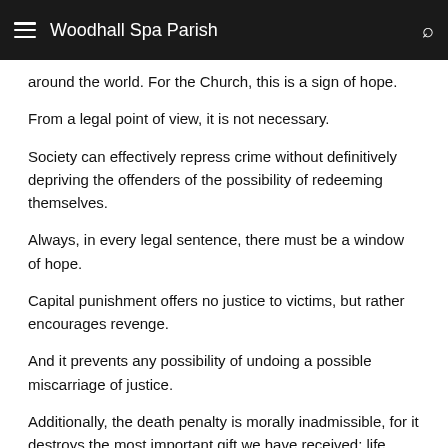Woodhall Spa Parish
around the world. For the Church, this is a sign of hope.
From a legal point of view, it is not necessary.
Society can effectively repress crime without definitively depriving the offenders of the possibility of redeeming themselves.
Always, in every legal sentence, there must be a window of hope.
Capital punishment offers no justice to victims, but rather encourages revenge.
And it prevents any possibility of undoing a possible miscarriage of justice.
Additionally, the death penalty is morally inadmissible, for it destroys the most important gift we have received: life.